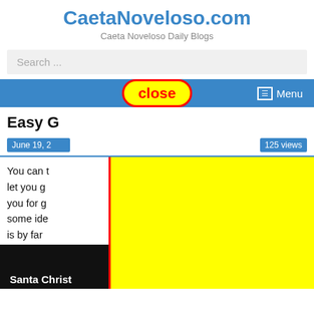CaetaNoveloso.com
Caeta Noveloso Daily Blogs
Search ...
Menu
[Figure (screenshot): Close button overlay with yellow background and red border, red text 'close']
Easy G...
June 19, 2...
125 views
You can t... s would let you g... repare you for g... e you some ide... h Puch is by far...
[Figure (screenshot): Yellow rectangle overlay with red border covering middle section. Bottom image strip shows 'Santa Christ' text in white on black background.]